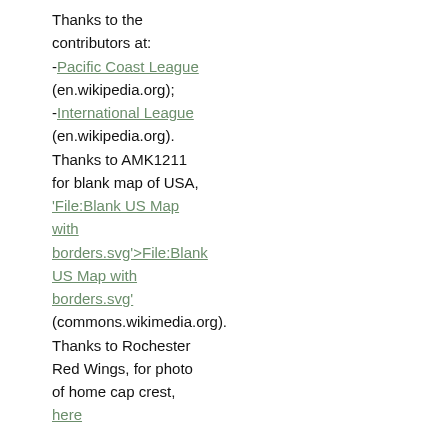Thanks to the contributors at: -Pacific Coast League (en.wikipedia.org); -International League (en.wikipedia.org). Thanks to AMK1211 for blank map of USA, 'File:Blank US Map with borders.svg'>File:Blank US Map with borders.svg' (commons.wikimedia.org). Thanks to Rochester Red Wings, for photo of home cap crest, here